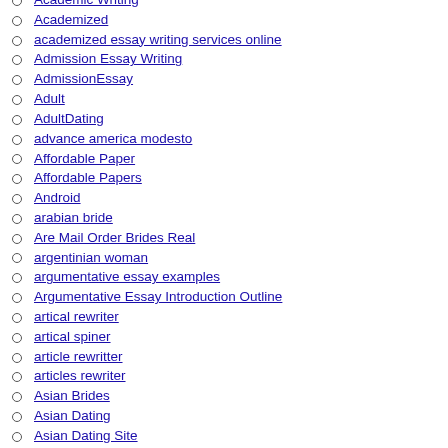Academic Writing
Academized
academized essay writing services online
Admission Essay Writing
AdmissionEssay
Adult
AdultDating
advance america modesto
Affordable Paper
Affordable Papers
Android
arabian bride
Are Mail Order Brides Real
argentinian woman
argumentative essay examples
Argumentative Essay Introduction Outline
artical rewriter
artical spiner
article rewritter
articles rewriter
Asian Brides
Asian Dating
Asian Dating Site
Asian Dating Sites
Asian Wife
Asian Women
Asian Women Dating
AsianBlog
AsiBllogs
Beautiful Asian Women
Beautiful Ukrainian Brides